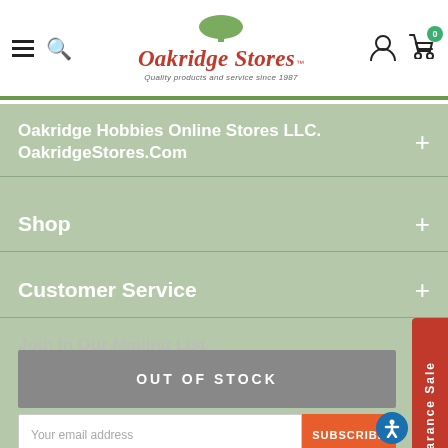Oakridge Stores — Quality products and service since 1987
Oakridge Hobbies Online Stores LLC. OakridgeStores.Com
Shop
Customer Service
Join In Our Mailing List
OUT OF STOCK
Your email address
SUBSCRIBE
[Figure (logo): Norton Secured badge]
[Figure (logo): TRUSTe badge]
[Figure (logo): Authorize.Net badge]
[Figure (logo): BBB Accredited Business badge]
[Figure (logo): Accessibility icon]
Clearance Sale